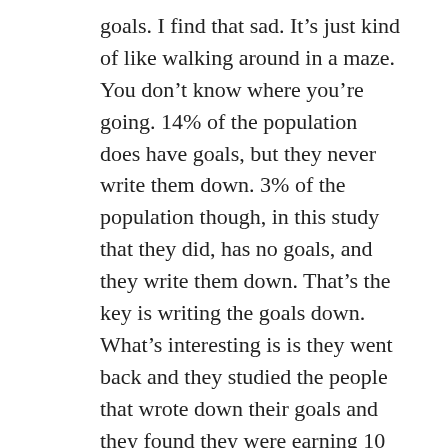goals. I find that sad. It's just kind of like walking around in a maze. You don't know where you're going. 14% of the population does have goals, but they never write them down. 3% of the population though, in this study that they did, has no goals, and they write them down. That's the key is writing the goals down. What's interesting is is they went back and they studied the people that wrote down their goals and they found they were earning 10 times more than the 83% of the group that didn't have any goals. They're earning that much more money. And in addition, the studies showed that individuals with written goals also tend to be healthier and have a happier life, happier marriages, than those without goals. So, it's definitely worth it as we're here at the beginning of the year. So, it's a new start. Think